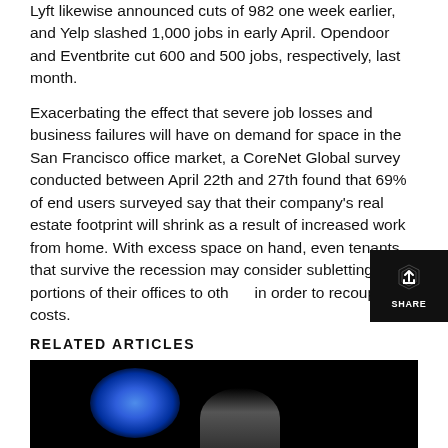Lyft likewise announced cuts of 982 one week earlier, and Yelp slashed 1,000 jobs in early April. Opendoor and Eventbrite cut 600 and 500 jobs, respectively, last month.
Exacerbating the effect that severe job losses and business failures will have on demand for space in the San Francisco office market, a CoreNet Global survey conducted between April 22th and 27th found that 69% of end users surveyed say that their company's real estate footprint will shrink as a result of increased work from home. With excess space on hand, even tenants that survive the recession may consider subletting portions of their offices to others in order to recoup costs.
RELATED ARTICLES
[Figure (photo): Dark photograph of a person on stage with a blue light/glow in the background]